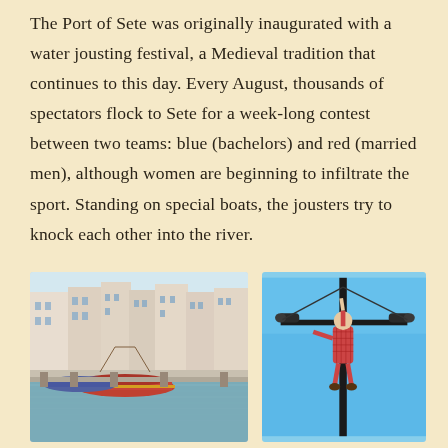The Port of Sete was originally inaugurated with a water jousting festival, a Medieval tradition that continues to this day. Every August, thousands of spectators flock to Sete for a week-long contest between two teams: blue (bachelors) and red (married men), although women are beginning to infiltrate the sport. Standing on special boats, the jousters try to knock each other into the river.
[Figure (photo): Harbor scene with colorful buildings along the waterfront and a red boat in the foreground, reflecting in calm water.]
[Figure (photo): A figure of a jouster mounted on a tall pole against a blue sky, with crossbar arms suggesting a jousting position.]